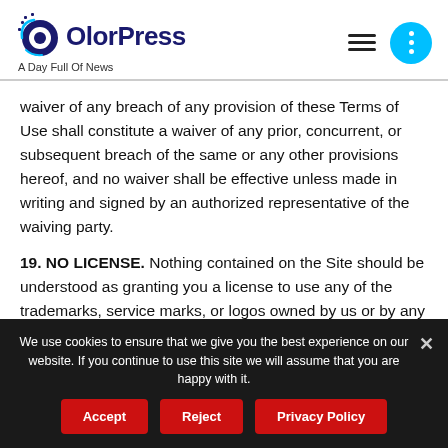ColorPress – A Day Full Of News
waiver of any breach of any provision of these Terms of Use shall constitute a waiver of any prior, concurrent, or subsequent breach of the same or any other provisions hereof, and no waiver shall be effective unless made in writing and signed by an authorized representative of the waiving party.
19. NO LICENSE. Nothing contained on the Site should be understood as granting you a license to use any of the trademarks, service marks, or logos owned by us or by any third party.
We use cookies to ensure that we give you the best experience on our website. If you continue to use this site we will assume that you are happy with it.